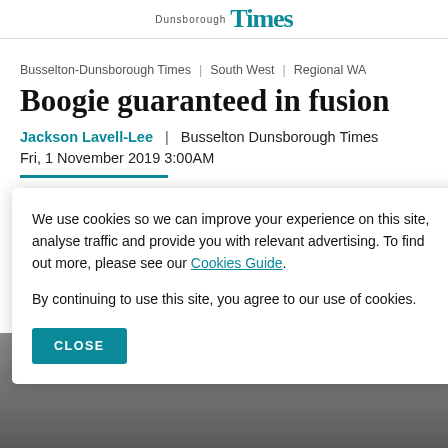Dunsborough Times
Busselton-Dunsborough Times | South West | Regional WA
Boogie guaranteed in fusion
Jackson Lavell-Lee | Busselton Dunsborough Times
Fri, 1 November 2019 3:00AM
We use cookies so we can improve your experience on this site, analyse traffic and provide you with relevant advertising. To find out more, please see our Cookies Guide.

By continuing to use this site, you agree to our use of cookies.